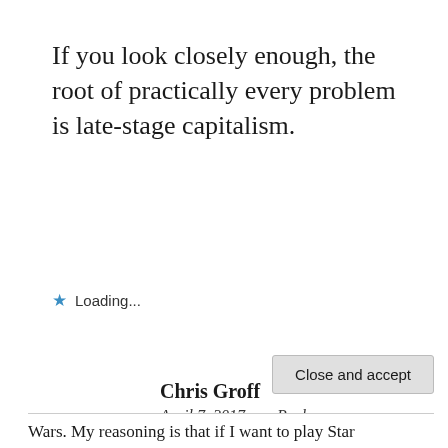If you look closely enough, the root of practically every problem is late-stage capitalism.
Loading...
Chris Groff
April 7, 2017   Reply
Privacy & Cookies: This site uses cookies. By continuing to use this website, you agree to their use.
To find out more, including how to control cookies, see here:
Cookie Policy
Close and accept
Wars. My reasoning is that if I want to play Star